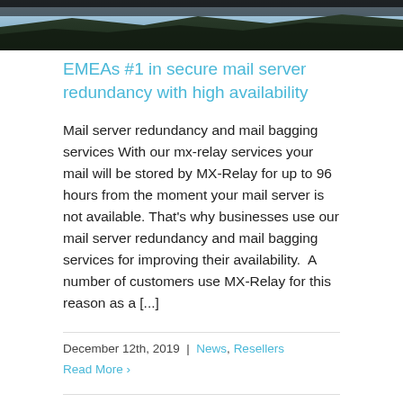[Figure (photo): Hero image showing an aerial or landscape view with dark sky and terrain]
EMEAs #1 in secure mail server redundancy with high availability
Mail server redundancy and mail bagging services With our mx-relay services your mail will be stored by MX-Relay for up to 96 hours from the moment your mail server is not available. That's why businesses use our mail server redundancy and mail bagging services for improving their availability.  A number of customers use MX-Relay for this reason as a [...]
December 12th, 2019  |  News, Resellers
Read More >